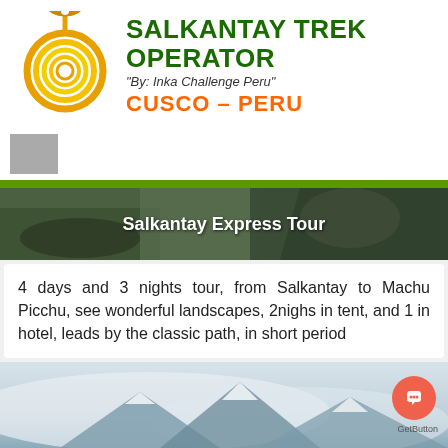[Figure (logo): Salkantay Trek Operator spiral logo with mushroom icon in yellow, orange, and green]
SALKANTAY TREK OPERATOR
"By: Inka Challenge Peru"
CUSCO – PERU
[Figure (photo): Gray square placeholder image]
Salkantay Express Tour
4 days and 3 nights tour, from Salkantay to Machu Picchu, see wonderful landscapes, 2nighs in tent, and 1 in hotel, leads by the classic path, in short period
[Figure (photo): Misty mountain landscape photo at bottom of page]